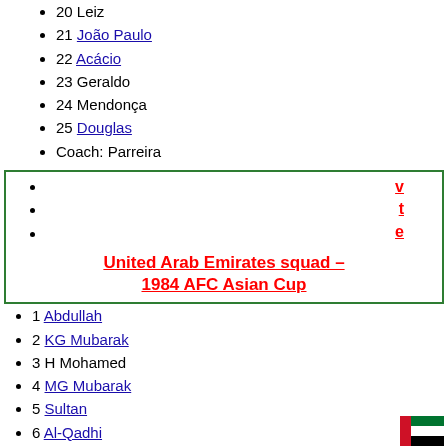20 Leiz
21 João Paulo
22 Acácio
23 Geraldo
24 Mendonça
25 Douglas
Coach: Parreira
v
t
e
United Arab Emirates squad – 1984 AFC Asian Cup
1 Abdullah
2 KG Mubarak
3 H Mohamed
4 MG Mubarak
5 Sultan
6 Al-Qadhi
7 FK Mubarak
8 S Mohamed
9 Obeid
10 Al Talyani